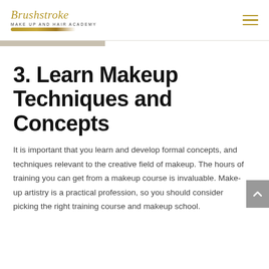Brushstroke Make Up and Hair Academy
3. Learn Makeup Techniques and Concepts
It is important that you learn and develop formal concepts, and techniques relevant to the creative field of makeup. The hours of training you can get from a makeup course is invaluable. Make-up artistry is a practical profession, so you should consider picking the right training course and makeup school.